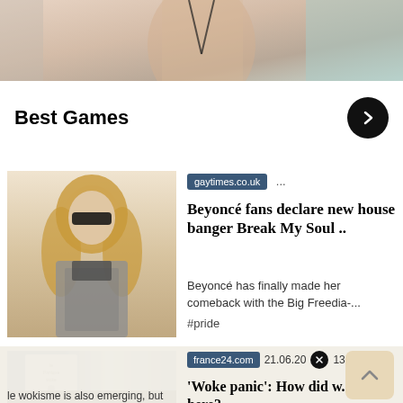[Figure (photo): Cropped photo of a woman in a bikini top, seated, visible from shoulders to waist]
Best Games
[Figure (photo): Photo of Beyoncé wearing sunglasses and a grey tweed blazer with a crop top and high-waisted pants]
gaytimes.co.uk ...
Beyoncé fans declare new house banger Break My Soul ..
Beyoncé has finally made her comeback with the Big Freedia-...
#pride
[Figure (screenshot): Partial screenshot showing a book cover or article thumbnail with a pastel purple design]
france24.com  21.06.20  13:25
'Woke panic': How did w... here?
le wokisme is also emerging, but nearly always in its negative